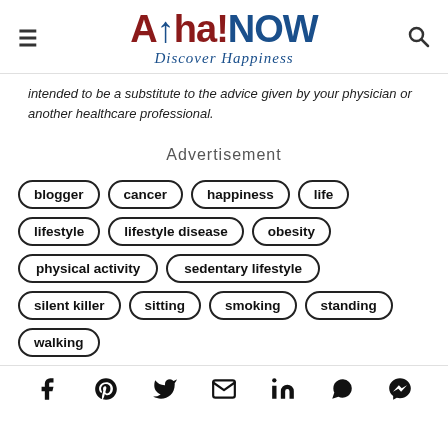Aha!NOW – Discover Happiness
intended to be a substitute to the advice given by your physician or another healthcare professional.
Advertisement
blogger
cancer
happiness
life
lifestyle
lifestyle disease
obesity
physical activity
sedentary lifestyle
silent killer
sitting
smoking
standing
walking
Social share icons: Facebook, Pinterest, Twitter, Email, LinkedIn, WhatsApp, Messenger